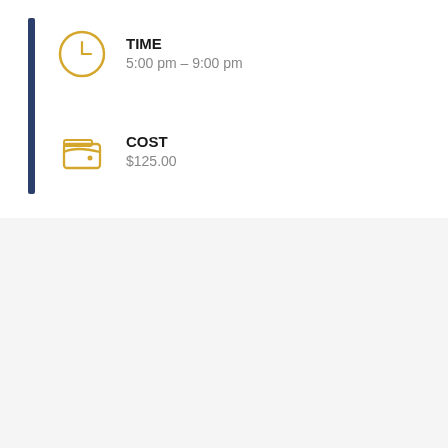TIME
5:00 pm – 9:00 pm
COST
$125.00
Classes
Moving and Shooting (102) Tac Med Clinic
Our Moving and Shooting (102) Tac Med Clinic continues to offer a variety of moving and shooting drills for the advanced shooter while incorporating a new skill set! We continue to work on drawing, moving, and shooting from CQB positions and